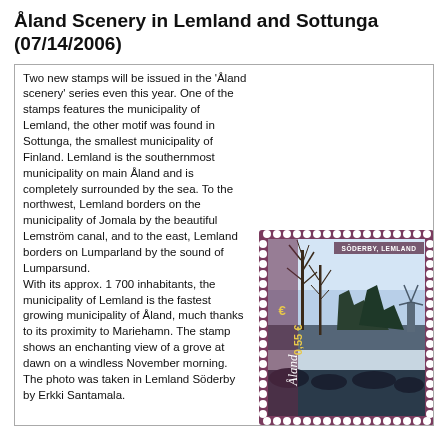Åland Scenery in Lemland and Sottunga (07/14/2006)
Two new stamps will be issued in the 'Åland scenery' series even this year. One of the stamps features the municipality of Lemland, the other motif was found in Sottunga, the smallest municipality of Finland. Lemland is the southernmost municipality on main Åland and is completely surrounded by the sea. To the northwest, Lemland borders on the municipality of Jomala by the beautiful Lemström canal, and to the east, Lemland borders on Lumparland by the sound of Lumparsund.
With its approx. 1 700 inhabitants, the municipality of Lemland is the fastest growing municipality of Åland, much thanks to its proximity to Mariehamn. The stamp shows an enchanting view of a grove at dawn on a windless November morning. The photo was taken in Lemland Söderby by Erkki Santamala.
[Figure (illustration): A postage stamp from Åland showing a scenic winter/autumn landscape with trees and mist at dawn. The stamp shows '0,55 €' denomination, reads 'SÖDERBY, LEMLAND' at top right, and 'Åland' on the left side in a mauve/purple border with perforated edges.]